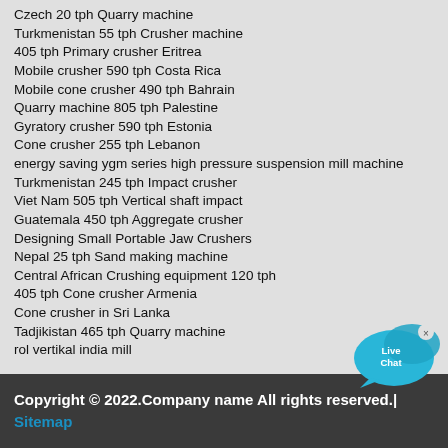Czech 20 tph Quarry machine
Turkmenistan 55 tph Crusher machine
405 tph Primary crusher Eritrea
Mobile crusher 590 tph Costa Rica
Mobile cone crusher 490 tph Bahrain
Quarry machine 805 tph Palestine
Gyratory crusher 590 tph Estonia
Cone crusher 255 tph Lebanon
energy saving ygm series high pressure suspension mill machine
Turkmenistan 245 tph Impact crusher
Viet Nam 505 tph Vertical shaft impact
Guatemala 450 tph Aggregate crusher
Designing Small Portable Jaw Crushers
Nepal 25 tph Sand making machine
Central African Crushing equipment 120 tph
405 tph Cone crusher Armenia
Cone crusher in Sri Lanka
Tadjikistan 465 tph Quarry machine
rol vertikal india mill
[Figure (illustration): Live Chat bubble widget with cyan speech bubble and 'Live Chat' text, with a small close (x) button]
Copyright © 2022.Company name All rights reserved.| Sitemap